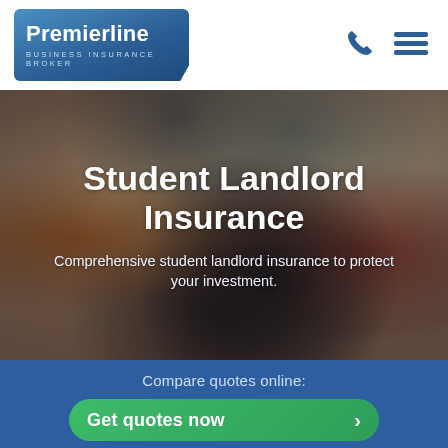[Figure (logo): Premierline Business Insurance Broker logo — white text on gradient blue rounded rectangle]
Student Landlord Insurance
Comprehensive student landlord insurance to protect your investment.
Compare quotes online:
Get quotes now